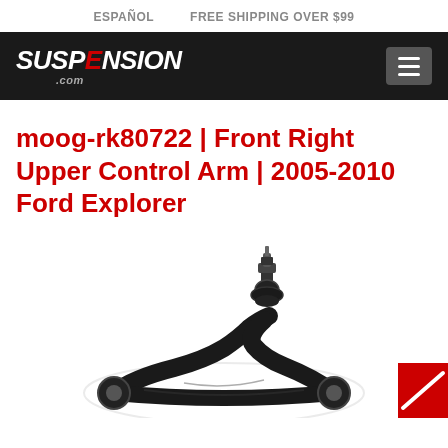ESPAÑOL   FREE SHIPPING OVER $99
[Figure (logo): Suspension.com logo in white italic bold text on dark background with red letter E, with .com below]
moog-rk80722 | Front Right Upper Control Arm | 2005-2010 Ford Explorer
[Figure (photo): Black metal front right upper control arm with ball joint, shown from above on white background. Partial red badge/label visible at bottom right.]